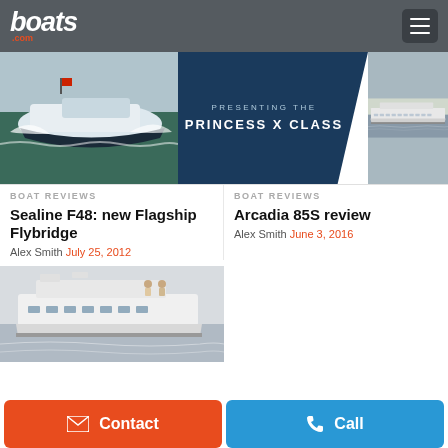boats.com
[Figure (screenshot): Boats.com website screenshot showing boat review articles and a Princess X Class advertisement banner]
PRESENTING THE PRINCESS X CLASS
BOAT REVIEWS
Sealine F48: new Flagship Flybridge
Alex Smith  July 25, 2012
BOAT REVIEWS
Arcadia 85S review
Alex Smith  June 3, 2016
Contact
Call